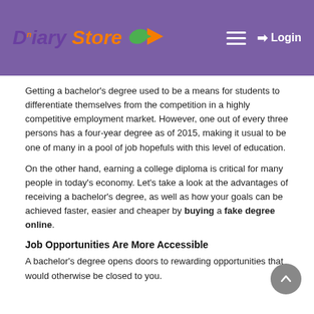Diary Store — Login
Getting a bachelor's degree used to be a means for students to differentiate themselves from the competition in a highly competitive employment market. However, one out of every three persons has a four-year degree as of 2015, making it usual to be one of many in a pool of job hopefuls with this level of education.
On the other hand, earning a college diploma is critical for many people in today's economy. Let's take a look at the advantages of receiving a bachelor's degree, as well as how your goals can be achieved faster, easier and cheaper by buying a fake degree online.
Job Opportunities Are More Accessible
A bachelor's degree opens doors to rewarding opportunities that would otherwise be closed to you.